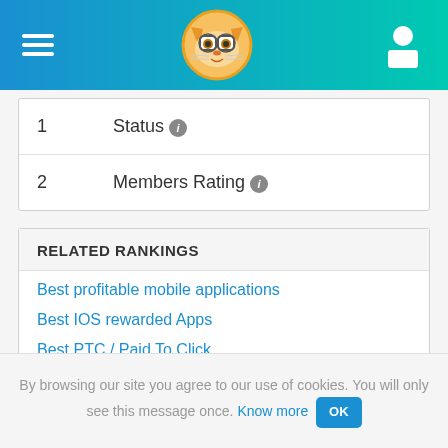[Figure (logo): Website header with hamburger menu icon on the left, a fox/cat mascot logo with glasses in the center, and a user/person icon on the right, on a blue-to-teal gradient background.]
| 1 | Status |
| 2 | Members Rating |
RELATED RANKINGS
Best profitable mobile applications
Best IOS rewarded Apps
Best PTC / Paid To Click
Best PTR
Best paid surveys sites
Best free lottery
Best free rewarding games sites
By browsing our site you agree to our use of cookies. You will only see this message once. Know more OK